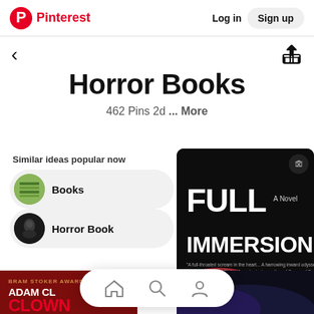Pinterest  Log in  Sign up
Horror Books
462 Pins 2d ... More
Similar ideas popular now
Books
Horror Book
[Figure (photo): Book cover for 'Full Immersion: A Novel' with dark background and colorful smoke/light effects]
[Figure (photo): Bottom left partial book cover with red background showing 'ADAM CL... CLOWN...' text]
[Figure (photo): Bottom right partial book cover with dark background]
Home  Search  Profile navigation icons